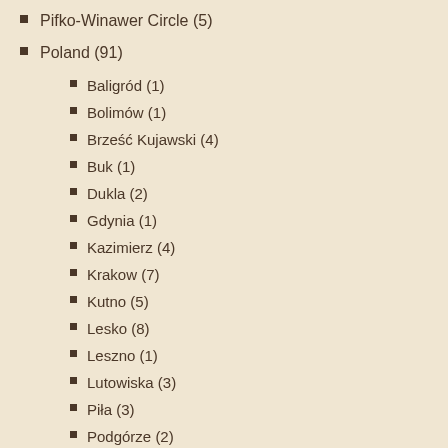Pifko-Winawer Circle (5)
Poland (91)
Baligród (1)
Bolimów (1)
Brześć Kujawski (4)
Buk (1)
Dukla (2)
Gdynia (1)
Kazimierz (4)
Krakow (7)
Kutno (5)
Lesko (8)
Leszno (1)
Lutowiska (3)
Piła (3)
Podgórze (2)
Poznan (11)
Przemyśl (2)